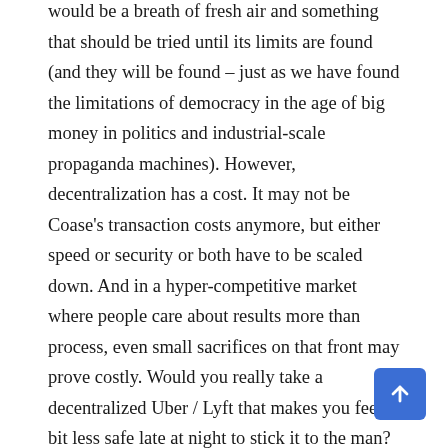would be a breath of fresh air and something that should be tried until its limits are found (and they will be found – just as we have found the limitations of democracy in the age of big money in politics and industrial-scale propaganda machines). However, decentralization has a cost. It may not be Coase's transaction costs anymore, but either speed or security or both have to be scaled down. And in a hyper-competitive market where people care about results more than process, even small sacrifices on that front may prove costly. Would you really take a decentralized Uber / Lyft that makes you feel a bit less safe late at night to stick it to the man? Would you take a 10 second load time for your daily social network fix or your search engine in exchange for